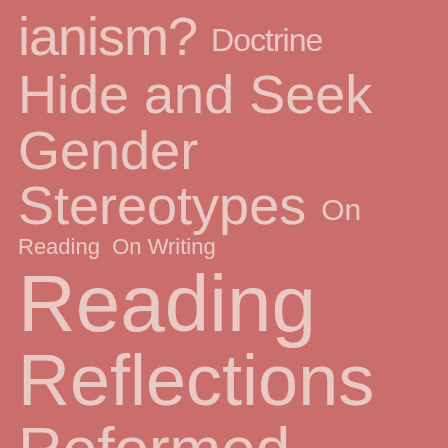[Figure (infographic): Tag cloud with various topic words in different sizes on a dusty rose/salmon background. Words include: ianism? Doctrine, Hide and Seek, Gender, Stereotypes, On, Reading, On Writing, Reading, Reflections, Reformed, Church Culture, Sexuality, Song of, Songs, spiritual abuse]